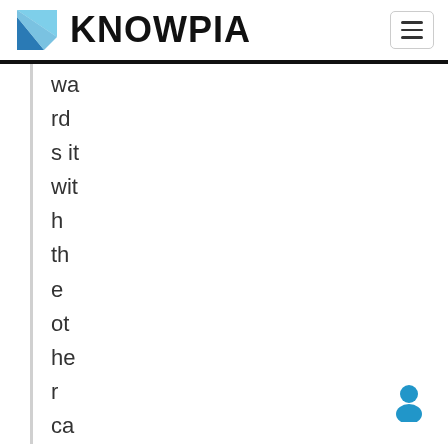KNOWPIA
wards it with the other cards. What